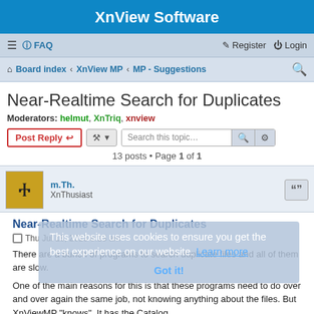XnView Software
≡  FAQ    Register  Login
Board index · XnView MP · MP - Suggestions
Near-Realtime Search for Duplicates
Moderators: helmut, XnTriq, xnview
Post Reply  [tools]  Search this topic...  13 posts • Page 1 of 1
m.Th. XnThusiast
Near-Realtime Search for Duplicates
Thu Jul 18, 2013 8:13 am
There are a bunch of programs to search duplicate files and all of them are slow.
One of the main reasons for this is that these programs need to do over and over again the same job, not knowing anything about the files. But XnViewMP "knows". It has the Catalog.
This website uses cookies to ensure you get the best experience on our website. Learn more  Got it!
In our discussion, there are 3 cases for Search of Duplicates: